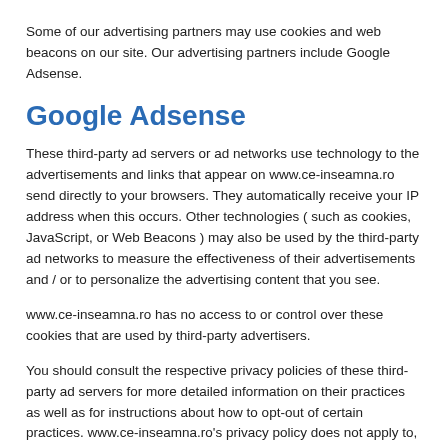Some of our advertising partners may use cookies and web beacons on our site. Our advertising partners include Google Adsense.
Google Adsense
These third-party ad servers or ad networks use technology to the advertisements and links that appear on www.ce-inseamna.ro send directly to your browsers. They automatically receive your IP address when this occurs. Other technologies ( such as cookies, JavaScript, or Web Beacons ) may also be used by the third-party ad networks to measure the effectiveness of their advertisements and / or to personalize the advertising content that you see.
www.ce-inseamna.ro has no access to or control over these cookies that are used by third-party advertisers.
You should consult the respective privacy policies of these third-party ad servers for more detailed information on their practices as well as for instructions about how to opt-out of certain practices. www.ce-inseamna.ro's privacy policy does not apply to, and we cannot control the activities of, such other advertisers or web sites.